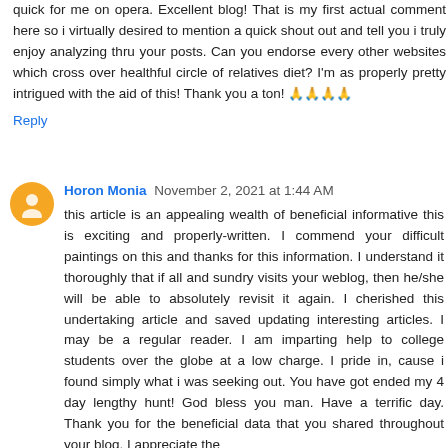quick for me on opera. Excellent blog! That is my first actual comment here so i virtually desired to mention a quick shout out and tell you i truly enjoy analyzing thru your posts. Can you endorse every other websites which cross over healthful circle of relatives diet? I'm as properly pretty intrigued with the aid of this! Thank you a ton! 🙏🙏🙏🙏
Reply
Horon Monia  November 2, 2021 at 1:44 AM
this article is an appealing wealth of beneficial informative this is exciting and properly-written. I commend your difficult paintings on this and thanks for this information. I understand it thoroughly that if all and sundry visits your weblog, then he/she will be able to absolutely revisit it again. I cherished this undertaking article and saved updating interesting articles. I may be a regular reader. I am imparting help to college students over the globe at a low charge. I pride in, cause i found simply what i was seeking out. You have got ended my 4 day lengthy hunt! God bless you man. Have a terrific day. Thank you for the beneficial data that you shared throughout your blog. I appreciate the